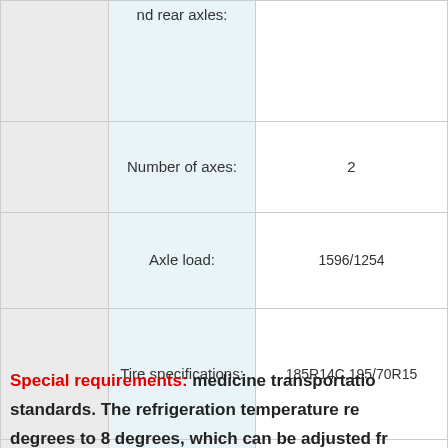|  | Field | Value |
| --- | --- | --- |
|  | nd rear axles: |  |
|  | Number of axes: | 2 |
|  | Axle load: | 1596/1254 |
|  | Tire specifications: | 185R14C,195/70R15 |
|  | Rear wheelbase: | 1440 |
Special requirements: medicine transportation standards. The refrigeration temperature re... degrees to 8 degrees, which can be adjusted fr...